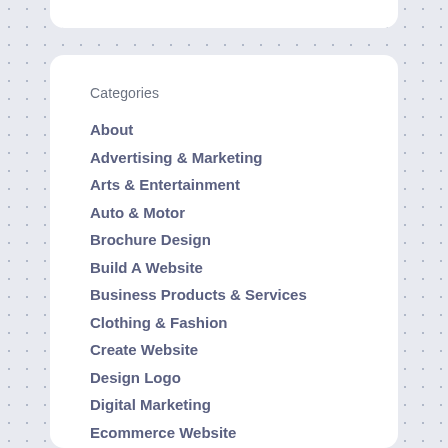Categories
About
Advertising & Marketing
Arts & Entertainment
Auto & Motor
Brochure Design
Build A Website
Business Products & Services
Clothing & Fashion
Create Website
Design Logo
Digital Marketing
Ecommerce Website
Employment
Entertainment
Financial
Foods & Culinary